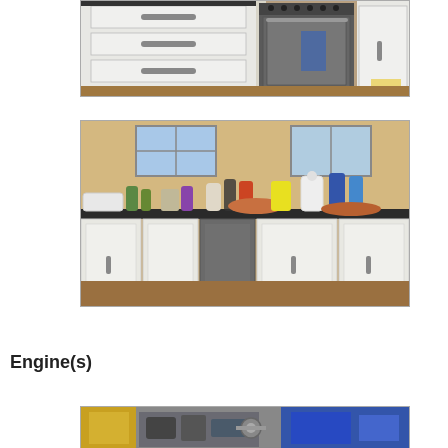[Figure (photo): Kitchen photo showing white cabinets with drawers and a stainless steel oven/range, wooden floor visible, dark countertop]
[Figure (photo): Kitchen countertop with dark worktop cluttered with various bottles, containers, chopping boards, and kitchen items; white cabinet doors below with bar handles; window visible in background]
Engine(s)
[Figure (photo): Partial view of an engine compartment, showing mechanical components with yellow and blue elements visible]